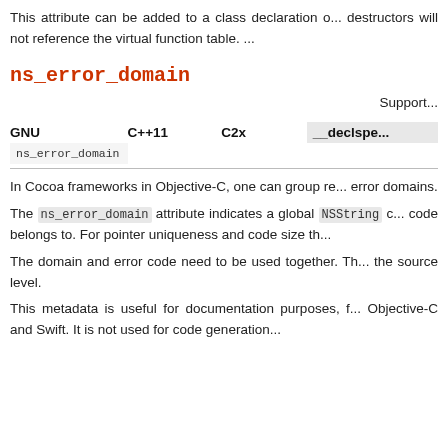This attribute can be added to a class declaration o... destructors will not reference the virtual function table. ...
ns_error_domain
Support...
| GNU | C++11 | C2x | __declspe... |
| --- | --- | --- | --- |
| ns_error_domain |  |  |  |
In Cocoa frameworks in Objective-C, one can group re... error domains.
The ns_error_domain attribute indicates a global NSString c... code belongs to. For pointer uniqueness and code size th...
The domain and error code need to be used together. Th... the source level.
This metadata is useful for documentation purposes, f... Objective-C and Swift. It is not used for code generation...